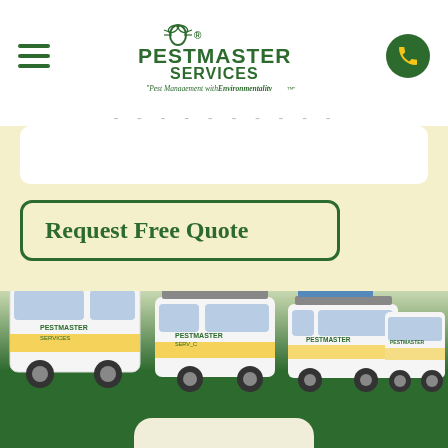[Figure (logo): Pestmaster Services logo with bug icon, green text reading PESTMASTER SERVICES and tagline 'Pest Management with Environmentality']
[Figure (screenshot): Navigation header with hamburger menu on left, Pestmaster Services logo in center, and green phone button on right]
Request Free Quote
[Figure (photo): Fleet of Pestmaster Services branded white vans and trucks with yellow and green graphics parked on green background]